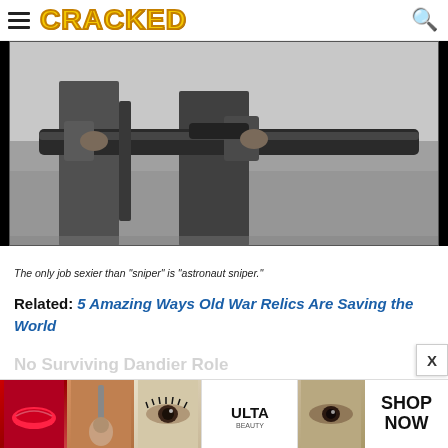CRACKED
[Figure (photo): Black and white photo of a person holding a large rifle or bazooka-style weapon, outdoors on grass]
The only job sexier than "sniper" is "astronaut sniper."
Related: 5 Amazing Ways Old War Relics Are Saving the World
No Surviving Dandier Role
[Figure (photo): Advertisement banner: ULTA Beauty cosmetics ad with images of lips, makeup brush, eyes, ULTA logo, and SHOP NOW text]